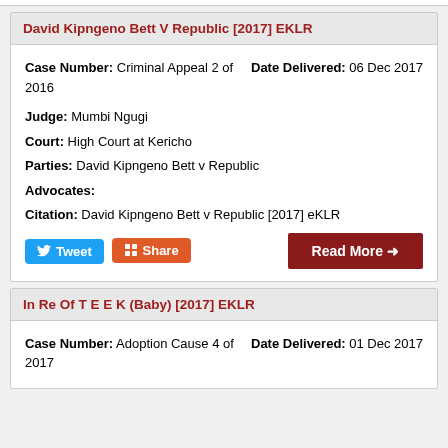David Kipngeno Bett V Republic [2017] EKLR
Case Number: Criminal Appeal 2 of 2016
Date Delivered: 06 Dec 2017
Judge: Mumbi Ngugi
Court: High Court at Kericho
Parties: David Kipngeno Bett v Republic
Advocates:
Citation: David Kipngeno Bett v Republic [2017] eKLR
In Re Of T E E K (Baby) [2017] EKLR
Case Number: Adoption Cause 4 of 2017
Date Delivered: 01 Dec 2017